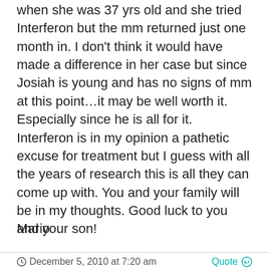when she was 37 yrs old and she tried Interferon but the mm returned just one month in. I don't think it would have made a difference in her case but since Josiah is young and has no signs of mm at this point…it may be well worth it. Especially since he is all for it. Interferon is in my opinion a pathetic excuse for treatment but I guess with all the years of research this is all they can come up with. You and your family will be in my thoughts. Good luck to you and your son!
Mario
December 5, 2010 at 7:20 am
Quote
djpayn
Participant